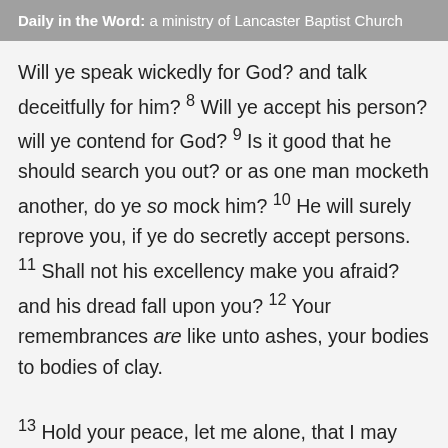Daily in the Word: a ministry of Lancaster Baptist Church
Will ye speak wickedly for God? and talk deceitfully for him? 8 Will ye accept his person? will ye contend for God? 9 Is it good that he should search you out? or as one man mocketh another, do ye so mock him? 10 He will surely reprove you, if ye do secretly accept persons. 11 Shall not his excellency make you afraid? and his dread fall upon you? 12 Your remembrances are like unto ashes, your bodies to bodies of clay. 13 Hold your peace, let me alone, that I may speak, and let come on me what will. 14 Wherefore do I take my flesh in my teeth, and put my life in mine hand? 15 Though he slay me, yet will I trust in him: but I will